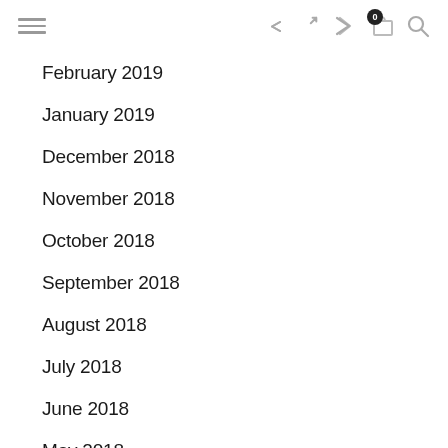Navigation header with hamburger menu, share icon, cart (0), and search icon
February 2019
January 2019
December 2018
November 2018
October 2018
September 2018
August 2018
July 2018
June 2018
May 2018
April 2018